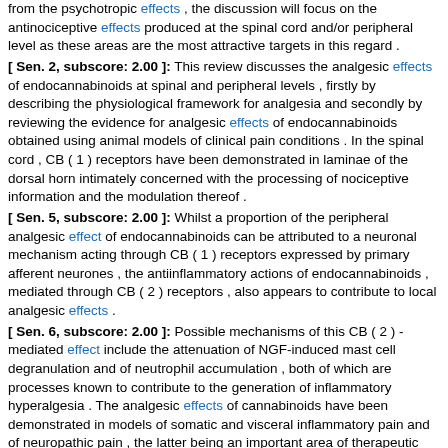from the psychotropic effects , the discussion will focus on the antinociceptive effects produced at the spinal cord and/or peripheral level as these areas are the most attractive targets in this regard . [ Sen. 2, subscore: 2.00 ]: This review discusses the analgesic effects of endocannabinoids at spinal and peripheral levels , firstly by describing the physiological framework for analgesia and secondly by reviewing the evidence for analgesic effects of endocannabinoids obtained using animal models of clinical pain conditions . In the spinal cord , CB ( 1 ) receptors have been demonstrated in laminae of the dorsal horn intimately concerned with the processing of nociceptive information and the modulation thereof . [ Sen. 5, subscore: 2.00 ]: Whilst a proportion of the peripheral analgesic effect of endocannabinoids can be attributed to a neuronal mechanism acting through CB ( 1 ) receptors expressed by primary afferent neurones , the antiinflammatory actions of endocannabinoids , mediated through CB ( 2 ) receptors , also appears to contribute to local analgesic effects . [ Sen. 6, subscore: 2.00 ]: Possible mechanisms of this CB ( 2 ) - mediated effect include the attenuation of NGF-induced mast cell degranulation and of neutrophil accumulation , both of which are processes known to contribute to the generation of inflammatory hyperalgesia . The analgesic effects of cannabinoids have been demonstrated in models of somatic and visceral inflammatory pain and of neuropathic pain , the latter being an important area of therapeutic need . Analgesia is one of the principal therapeutic targets of cannabinoids . [ Sen. 7, subscore: 1.00 ]: This review will discuss the analgesic effects of endocannabinoids in relation to two areas of therapeutic need , persistent inflammation and neuropathic pain . [ Sen. 12, subscore: 1.00 ]: A mechanistic discussion of the